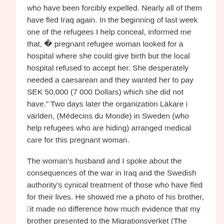who have been forcibly expelled. Nearly all of them have fled Iraq again. In the beginning of last week one of the refugees I help conceal, informed me that, “a pregnant refugee woman looked for a hospital where she could give birth but the local hospital refused to accept her. She desperately needed a caesarean and they wanted her to pay SEK 50,000 (7 000 Dollars) which she did not have.” Two days later the organization Läkare i världen, (Médecins du Monde) in Sweden (who help refugees who are hiding) arranged medical care for this pregnant woman.
The woman’s husband and I spoke about the consequences of the war in Iraq and the Swedish authority’s cynical treatment of those who have fled for their lives. He showed me a photo of his brother, “it made no difference how much evidence that my brother presented to the Migrationsverket (The Migration Board) and the